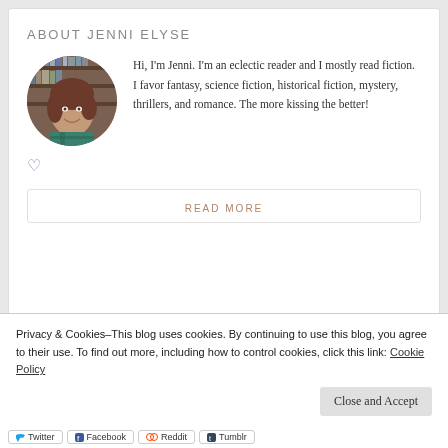ABOUT JENNI ELYSE
[Figure (photo): Circular profile photo of Jenni Elyse, a woman with brown hair smiling, with bookshelves in the background]
Hi, I'm Jenni. I'm an eclectic reader and I mostly read fiction. I favor fantasy, science fiction, historical fiction, mystery, thrillers, and romance. The more kissing the better!
♥
READ MORE
Privacy & Cookies–This blog uses cookies. By continuing to use this blog, you agree to their use. To find out more, including how to control cookies, click this link: Cookie Policy
Close and Accept
Twitter  Facebook  Reddit  Tumblr